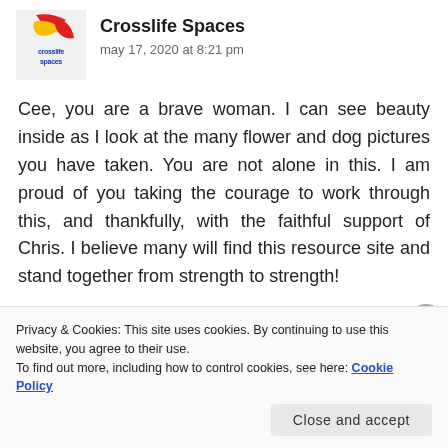[Figure (logo): Crosslife Spaces logo — circular emblem with red, yellow, and blue colors, text 'crosslife spaces' inside]
Crosslife Spaces
may 17, 2020 at 8:21 pm
Cee, you are a brave woman. I can see beauty inside as I look at the many flower and dog pictures you have taken. You are not alone in this. I am proud of you taking the courage to work through this, and thankfully, with the faithful support of Chris. I believe many will find this resource site and stand together from strength to strength!
Privacy & Cookies: This site uses cookies. By continuing to use this website, you agree to their use.
To find out more, including how to control cookies, see here: Cookie Policy